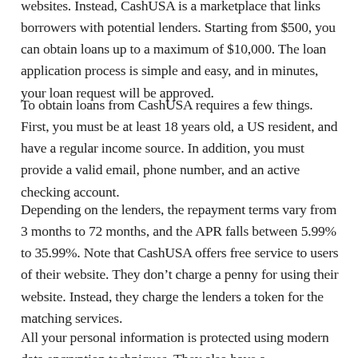websites. Instead, CashUSA is a marketplace that links borrowers with potential lenders. Starting from $500, you can obtain loans up to a maximum of $10,000. The loan application process is simple and easy, and in minutes, your loan request will be approved.
To obtain loans from CashUSA requires a few things. First, you must be at least 18 years old, a US resident, and have a regular income source. In addition, you must provide a valid email, phone number, and an active checking account.
Depending on the lenders, the repayment terms vary from 3 months to 72 months, and the APR falls between 5.99% to 35.99%. Note that CashUSA offers free service to users of their website. They don’t charge a penny for using their website. Instead, they charge the lenders a token for the matching services.
All your personal information is protected using modern data encryption techniques. They also have a comprehensive privacy